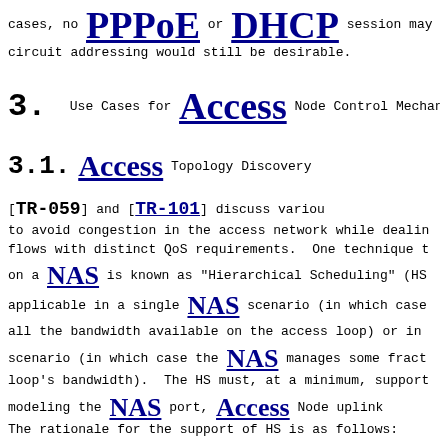cases, no PPPoE or DHCP session may be present; circuit addressing would still be desirable.
3. Use Cases for Access Node Control Mechanisms
3.1. Access Topology Discovery
[TR-059] and [TR-101] discuss various techniques to avoid congestion in the access network while dealing with flows with distinct QoS requirements. One technique that on a NAS is known as "Hierarchical Scheduling" (HS). applicable in a single NAS scenario (in which case all the bandwidth available on the access loop) or in scenario (in which case the NAS manages some fraction of loop's bandwidth). The HS must, at a minimum, support modeling the NAS port, Access Node uplink. The rationale for the support of HS is as follows: